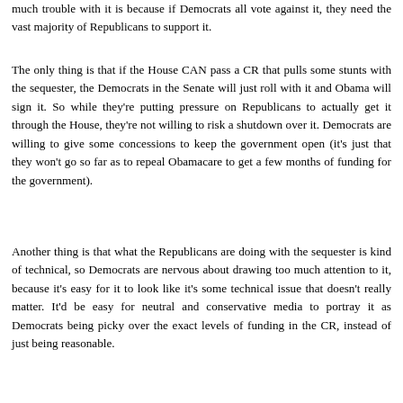much trouble with it is because if Democrats all vote against it, they need the vast majority of Republicans to support it.
The only thing is that if the House CAN pass a CR that pulls some stunts with the sequester, the Democrats in the Senate will just roll with it and Obama will sign it. So while they're putting pressure on Republicans to actually get it through the House, they're not willing to risk a shutdown over it. Democrats are willing to give some concessions to keep the government open (it's just that they won't go so far as to repeal Obamacare to get a few months of funding for the government).
Another thing is that what the Republicans are doing with the sequester is kind of technical, so Democrats are nervous about drawing too much attention to it, because it's easy for it to look like it's some technical issue that doesn't really matter. It'd be easy for neutral and conservative media to portray it as Democrats being picky over the exact levels of funding in the CR, instead of just being reasonable.